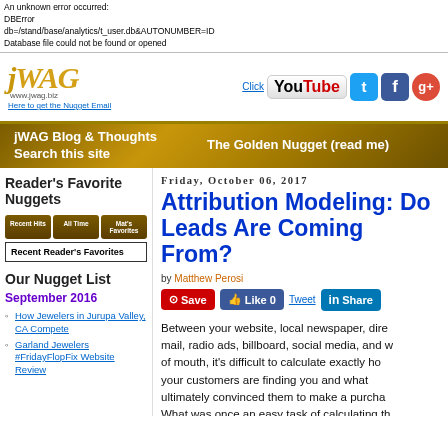An unknown error occurred:
DBError
db=/stand/base/analytics/t_user.db&AUTONUMBER=ID
Database file could not be found or opened
[Figure (logo): jWAG logo with www.jwag.biz and social media icons (YouTube, Twitter, Facebook, Google+)]
[Figure (screenshot): Navigation bar with jWAG Blog & Thoughts, Search this site, The Golden Nugget (read me)]
Reader's Favorite Nuggets
Recent Reader's Favorites
Our Nugget List
September 2016
How Jewelers in Jurupa Valley, CA Compete
Garland Jewelers #FridayFlopFix Website Review
Friday, October 06, 2017
Attribution Modeling: Do You Know Where Your Leads Are Coming From?
by Matthew Perosi
Between your website, local newspaper, direct mail, radio ads, billboard, social media, and word of mouth, it's difficult to calculate exactly how your customers are finding you and what ultimately convinced them to make a purchase. What was once an easy task of calculating th